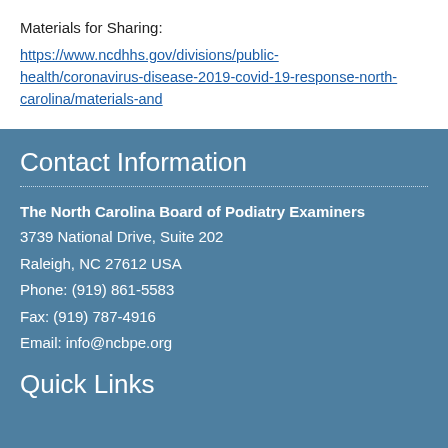Materials for Sharing:
https://www.ncdhhs.gov/divisions/public-health/coronavirus-disease-2019-covid-19-response-north-carolina/materials-and
Contact Information
The North Carolina Board of Podiatry Examiners
3739 National Drive, Suite 202
Raleigh, NC 27612 USA
Phone: (919) 861-5583
Fax: (919) 787-4916
Email: info@ncbpe.org
Quick Links